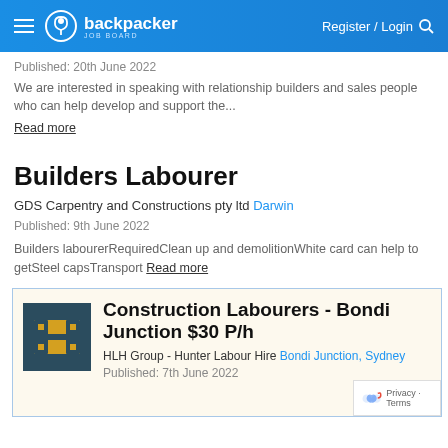backpacker JOB BOARD — Register / Login
Published: 20th June 2022
We are interested in speaking with relationship builders and sales people who can help develop and support the... Read more
Builders Labourer
GDS Carpentry and Constructions pty ltd Darwin
Published: 9th June 2022
Builders labourerRequiredClean up and demolitionWhite card can help to getSteel capsTransport Read more
Construction Labourers - Bondi Junction $30 P/h
HLH Group - Hunter Labour Hire Bondi Junction, Sydney
Published: 7th June 2022